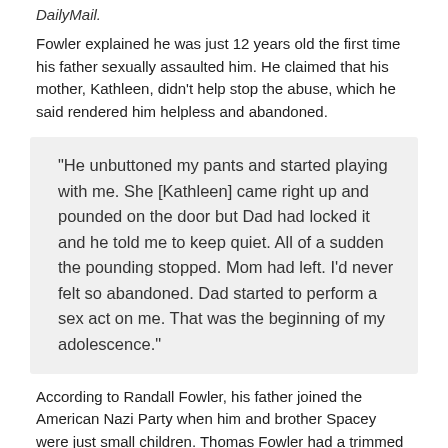DailyMail.
Fowler explained he was just 12 years old the first time his father sexually assaulted him. He claimed that his mother, Kathleen, didn't help stop the abuse, which he said rendered him helpless and abandoned.
“He unbuttoned my pants and started playing with me. She [Kathleen] came right up and pounded on the door but Dad had locked it and he told me to keep quiet. All of a sudden the pounding stopped. Mom had left. I’d never felt so abandoned. Dad started to perform a sex act on me. That was the beginning of my adolescence.”
According to Randall Fowler, his father joined the American Nazi Party when him and brother Spacey were just small children. Thomas Fowler had a trimmed mustache that resembled Adolph Hitler and often spoke how Jewish people